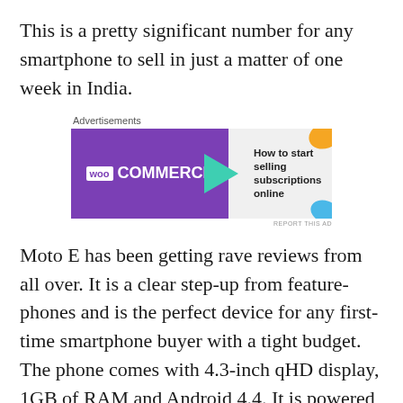This is a pretty significant number for any smartphone to sell in just a matter of one week in India.
[Figure (other): WooCommerce advertisement banner with purple left section showing WooCommerce logo, teal arrow, and right section with text 'How to start selling subscriptions online' with decorative colored shapes]
Moto E has been getting rave reviews from all over. It is a clear step-up from feature-phones and is the perfect device for any first-time smartphone buyer with a tight budget. The phone comes with 4.3-inch qHD display, 1GB of RAM and Android 4.4. It is powered by 1.2GHz dual-core Snapdragon 200 processor and